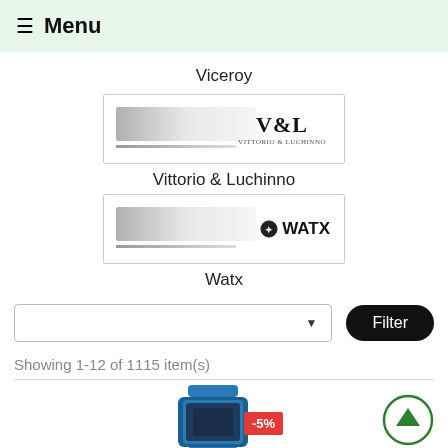Menu
Viceroy
[Figure (logo): V&L brand logo card with gradient bar]
Vittorio & Luchinno
[Figure (logo): WATX brand logo card with gradient bar]
Watx
Showing 1-12 of 1115 item(s)
[Figure (photo): Product image of a watch (blue) with -5% discount badge and navigation arrow circle icon]